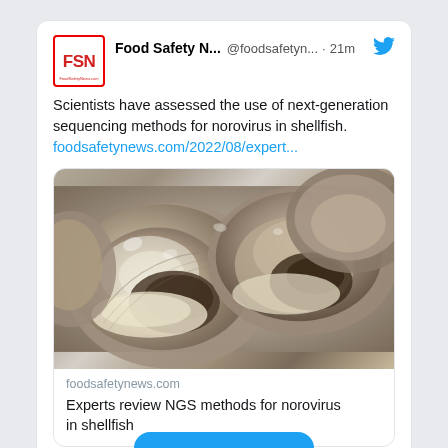[Figure (screenshot): A Twitter/social media post from Food Safety News (@foodsafetyn...) posted 21 minutes ago. The tweet reads: 'Scientists have assessed the use of next-generation sequencing methods for norovirus in shellfish. foodsafetynews.com/2022/08/expert...' It includes a linked article card showing a close-up photo of oysters, the domain 'foodsafetynews.com', and article title 'Experts review NGS methods for norovirus in shellfish'. The post has 2 likes shown at the bottom.]